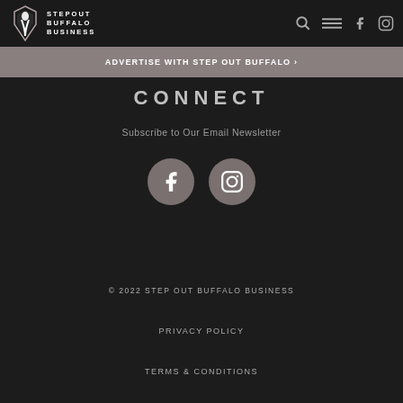Step Out Buffalo Business logo with navigation icons (search, menu, Facebook, Instagram)
ADVERTISE WITH STEP OUT BUFFALO ›
CONNECT
Subscribe to Our Email Newsletter
[Figure (other): Two circular social media icon buttons: Facebook and Instagram]
© 2022 STEP OUT BUFFALO BUSINESS
PRIVACY POLICY
TERMS & CONDITIONS